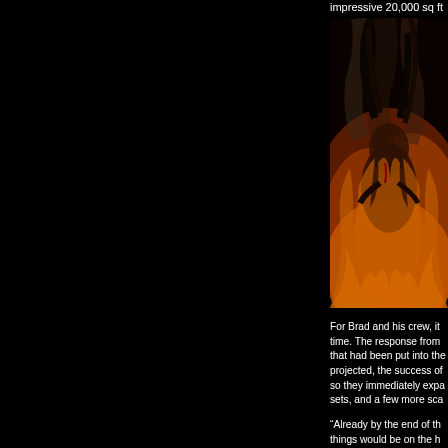impressive 20,000 sq ft o
[Figure (photo): Person surrounded by fire and smoke, horror/Halloween themed image with orange and red flames filling the background]
For Brad and his crew, it time. The response from that had been put into the projected, the success of so they immediately expa sets, and a few more sca
“Already by the end of th things would be on the h known as Night Terrors